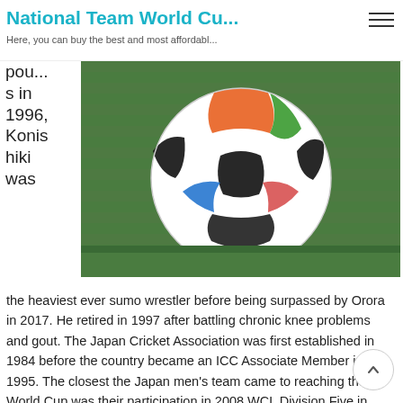National Team World Cu...
Here, you can buy the best and most affordabl...
pou...
s in 1996, Konishiki was
[Figure (photo): Close-up photo of a soccer ball on green grass, with colorful patches of black, white, red, orange, green and blue on the ball.]
the heaviest ever sumo wrestler before being surpassed by Orora in 2017. He retired in 1997 after battling chronic knee problems and gout. The Japan Cricket Association was first established in 1984 before the country became an ICC Associate Member in 1995. The closest the Japan men’s team came to reaching the World Cup was their participation in 2008 WCL Division Five in Jersey, a tournament more famous for being the start of Afghanistan’s journey up the world rankings. With being July 4th, there’s no better time to look back